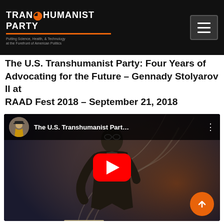Transhumanist Party – Putting Science, Health, & Technology at the Forefront of American Politics
The U.S. Transhumanist Party: Four Years of Advocating for the Future – Gennady Stolyarov II at RAAD Fest 2018 – September 21, 2018
[Figure (screenshot): YouTube video embed thumbnail showing Gennady Stolyarov II speaking at RAAD Fest 2018, with video title 'The U.S. Transhumanist Part...' visible in a dark overlay bar at the top, and a large red YouTube play button centered over the video. The speaker is a man in a dark suit with glasses, standing at a podium. A scroll-to-top orange circular button appears in the lower-right corner.]